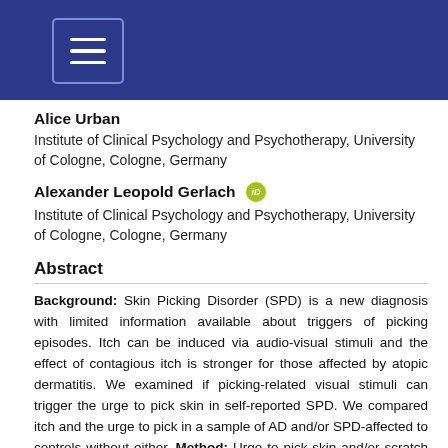[Navigation header bar with menu icon]
Alice Urban
Institute of Clinical Psychology and Psychotherapy, University of Cologne, Cologne, Germany
Alexander Leopold Gerlach [ORCID]
Institute of Clinical Psychology and Psychotherapy, University of Cologne, Cologne, Germany
Abstract
Background: Skin Picking Disorder (SPD) is a new diagnosis with limited information available about triggers of picking episodes. Itch can be induced via audio-visual stimuli and the effect of contagious itch is stronger for those affected by atopic dermatitis. We examined if picking-related visual stimuli can trigger the urge to pick skin in self-reported SPD. We compared itch and the urge to pick in a sample of AD and/or SPD-affected to controls without either. Method: Urge to pick skin and/or scratch when viewing 24 itch-related, picking-related or neutral online pictures was assessed in adult females, who self-report skin-picking (SPD-only, n = 147)